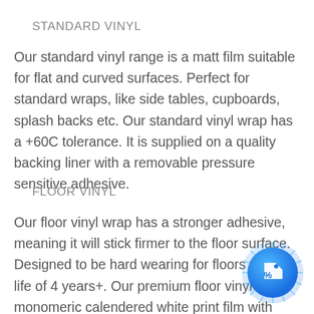STANDARD VINYL
Our standard vinyl range is a matt film suitable for flat and curved surfaces. Perfect for standard wraps, like side tables, cupboards, splash backs etc. Our standard vinyl wrap has a +60C tolerance. It is supplied on a quality backing liner with a removable pressure sensitive adhesive.
FLOOR VINYL
Our floor vinyl wrap has a stronger adhesive, meaning it will stick firmer to the floor surface. Designed to be hard wearing for floors with a life of 4 years+. Our premium floor vinyl uses monomeric calendered white print film with special anti-skid layer. This vinyl is designed to
[Figure (illustration): Blue circular badge with a price tag icon and percent symbol]